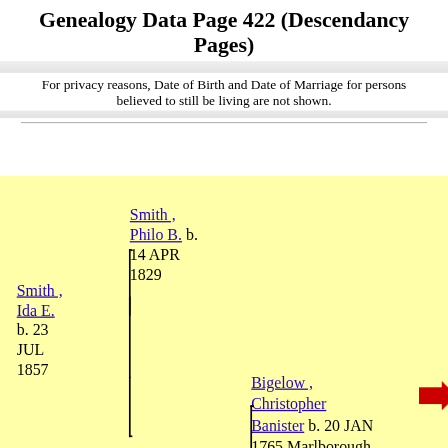Genealogy Data Page 422 (Descendancy Pages)
For privacy reasons, Date of Birth and Date of Marriage for persons believed to still be living are not shown.
Smith , Philo B. b. 14 APR 1829
Smith , Ida E. b. 23 JUL 1857
Bigelow , Christopher Banister b. 20 JAN 1765 Marlborough, Middlesex Co, MA d. 7 APR 1830 Berlin, MA